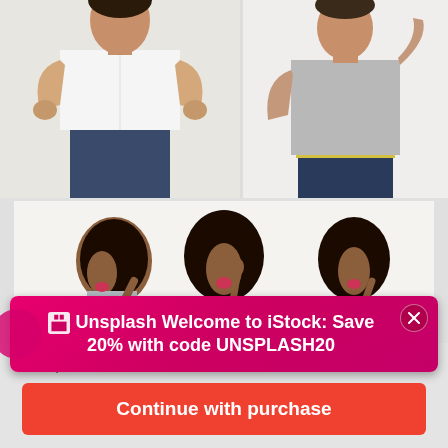[Figure (photo): Top row: two stock photos. Left: person in white shirt and dark jeans standing with hands on hips against a light background. Right: person in gray t-shirt with hand behind head against a white background.]
[Figure (photo): Main photo: three poses of the same young Black woman with natural curly hair, showing surprised and excited expressions, pointing upward, against a white background.]
[Figure (infographic): Unsplash promotional banner overlay on the main photo: magenta/pink gradient banner with Unsplash logo and text: Welcome to iStock: Save 20% with code UNSPLASH20. Close button (X) in top right corner.]
$12 | 1 credit
Continue with purchase